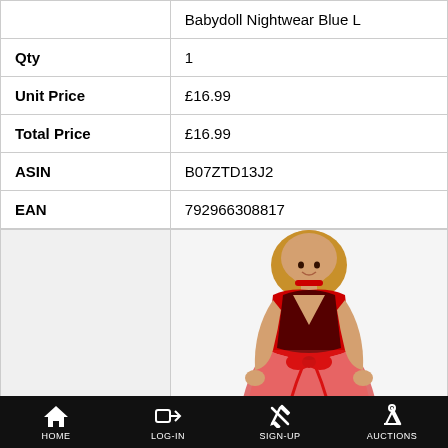|  | Babydoll Nightwear Blue L |
| Qty | 1 |
| Unit Price | £16.99 |
| Total Price | £16.99 |
| ASIN | B07ZTD13J2 |
| EAN | 792966308817 |
[Figure (photo): Product photo of a red lace halter babydoll nightwear/lingerie item worn by a blonde model]
HOME   LOG-IN   SIGN-UP   AUCTIONS